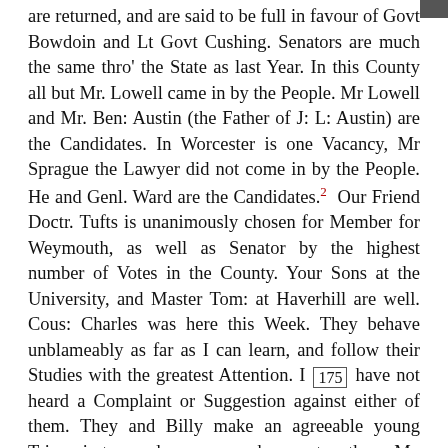are returned, and are said to be full in favour of Govt Bowdoin and Lt Govt Cushing. Senators are much the same thro' the State as last Year. In this County all but Mr. Lowell came in by the People. Mr Lowell and Mr. Ben: Austin (the Father of J: L: Austin) are the Candidates. In Worcester is one Vacancy, Mr Sprague the Lawyer did not come in by the People. He and Genl. Ward are the Candidates.² Our Friend Doctr. Tufts is unanimously chosen for Member for Weymouth, as well as Senator by the highest number of Votes in the County. Your Sons at the University, and Master Tom: at Haverhill are well. Cous: Charles was here this Week. They behave unblameably as far as I can learn, and follow their Studies with the greatest Attention. I [175] have not heard a Complaint or Suggestion against either of them. They and Billy make an agreeable young Triumvirate, and are very happy together. My Kinsman Mr. Wm: Bond, who married Mrs.